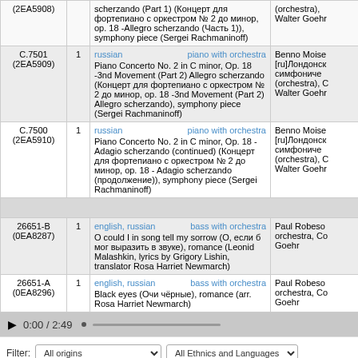| ID | # | Description | Artist |
| --- | --- | --- | --- |
| (2EA5908) | 1 | scherzando (Part 1) (Концерт для фортепиано с оркестром № 2 до минор, op. 18 -Allegro scherzando (Часть 1)), symphony piece (Sergei Rachmaninoff) | (orchestra), Walter Goehr |
| C.7501
(2EA5909) | 1 | russian / piano with orchestra
Piano Concerto No. 2 in C minor, Op. 18 -3nd Movement (Part 2) Allegro scherzando (Концерт для фортепиано с оркестром № 2 до минор, op. 18 -3nd Movement (Part 2) Allegro scherzando), symphony piece (Sergei Rachmaninoff) | Benno Moise...
[ru]Лондонск...
симфониче...
(orchestra), (...
Walter Goehr |
| C.7500
(2EA5910) | 1 | russian / piano with orchestra
Piano Concerto No. 2 in C minor, Op. 18 - Adagio scherzando (continued) (Концерт для фортепиано с оркестром № 2 до минор, op. 18 - Adagio scherzando (продолжение)), symphony piece (Sergei Rachmaninoff) | Benno Moise...
[ru]Лондонск...
симфониче...
(orchestra), (...
Walter Goehr |
| Victor |  |  |  |
| 26651-B
(0EA8287) | 1 | english, russian / bass with orchestra
O could I in song tell my sorrow (О, если б мог выразить в звуке), romance (Leonid Malashkin, lyrics by Grigory Lishin, translator Rosa Harriet Newmarch) | Paul Robeso...
orchestra, Co...
Goehr |
| 26651-A
(0EA8296) | 1 | english, russian / bass with orchestra
Black eyes (Очи чёрные), romance (arr. Rosa Harriet Newmarch) | Paul Robeso...
orchestra, Co...
Goehr |
0:00 / 2:49
Filter: All origins | All Ethnics and Languages
About this site • Terms of Use • Privacy Statement • Links • Contact Us • Guestbook